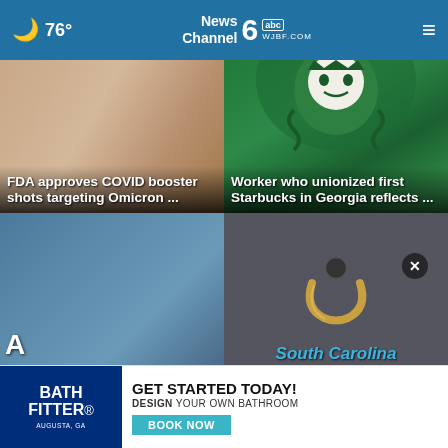76° | News Channel 6 abc WJBF.COM
[Figure (photo): Blurred close-up photo of hands with medical/IV equipment, used as background for FDA COVID booster story]
FDA approves COVID booster shots targeting Omicron ...
[Figure (photo): Starbucks logo (siren/mermaid) close-up in green and white]
Worker who unionized first Starbucks in Georgia reflects ...
[Figure (photo): Blue textured background photo]
[Figure (photo): Dark background with a small horseshoe-shaped gold charm/object on dark surface]
South Carolina
[Figure (illustration): Bath Fitter advertisement banner: GET STARTED TODAY! DESIGN YOUR OWN BATHROOM - BOOK NOW]